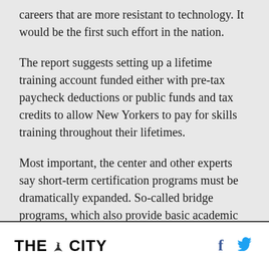careers that are more resistant to technology. It would be the first such effort in the nation.
The report suggests setting up a lifetime training account funded either with pre-tax paycheck deductions or public funds and tax credits to allow New Yorkers to pay for skills training throughout their lifetimes.
Most important, the center and other experts say short-term certification programs must be dramatically expanded. So-called bridge programs, which also provide basic academic and social skills, need to be bolstered as well.
THE CITY